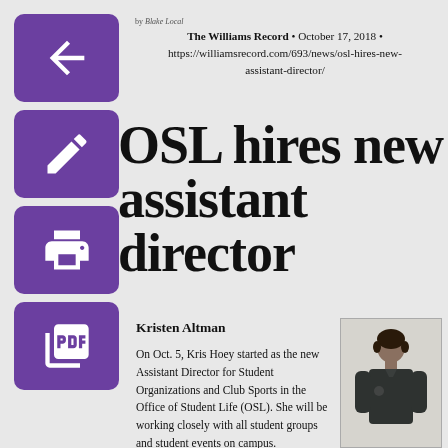The Williams Record • October 17, 2018 • https://williamsrecord.com/693/news/osl-hires-new-assistant-director/
OSL hires new assistant director
Kristen Altman
On Oct. 5, Kris Hoey started as the new Assistant Director for Student Organizations and Club Sports in the Office of Student Life (OSL). She will be working closely with all student groups and student events on campus.
[Figure (photo): Photo of Kris Hoey standing against a light wall, wearing a dark zip-up top]